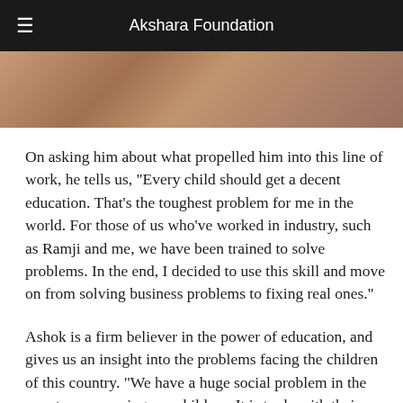Akshara Foundation
[Figure (photo): Partial photo of a person wearing a brown/tan vest, cropped to show only the torso area]
On asking him about what propelled him into this line of work, he tells us, “Every child should get a decent education. That’s the toughest problem for me in the world. For those of us who’ve worked in industry, such as Ramji and me, we have been trained to solve problems. In the end, I decided to use this skill and move on from solving business problems to fixing real ones.”
Ashok is a firm believer in the power of education, and gives us an insight into the problems facing the children of this country. “We have a huge social problem in the country concerning our children. It is to do with their health, and their education, among many other things.